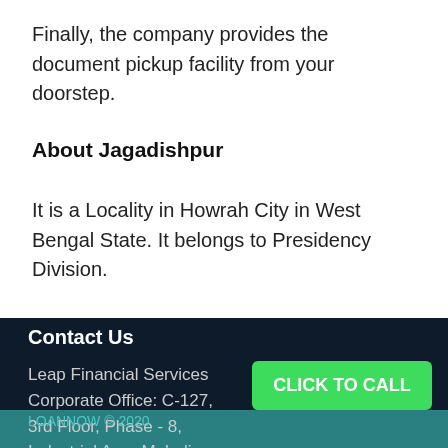Finally, the company provides the document pickup facility from your doorstep.
About Jagadishpur
It is a Locality in Howrah City in West Bengal State. It belongs to Presidency Division.
Contact Us
Leap Financial Services
Corporate Office: C-127, 3rd Floor, Phase - 8, Industrial Area Mohali - 160071
Contact - 9814103132
LOANNOW © 2020